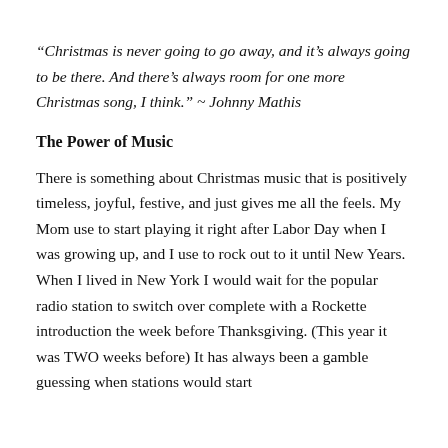“Christmas is never going to go away, and it’s always going to be there. And there’s always room for one more Christmas song, I think.” ~ Johnny Mathis
The Power of Music
There is something about Christmas music that is positively timeless, joyful, festive, and just gives me all the feels. My Mom use to start playing it right after Labor Day when I was growing up, and I use to rock out to it until New Years. When I lived in New York I would wait for the popular radio station to switch over complete with a Rockette introduction the week before Thanksgiving. (This year it was TWO weeks before) It has always been a gamble guessing when stations would start